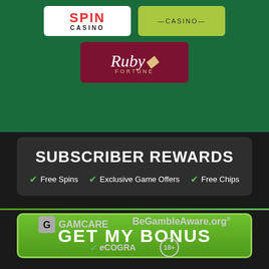[Figure (logo): Spin Casino logo (white background, red bold SPIN text, black CASINO text)]
[Figure (logo): Casino logo on yellow-green background with —CASINO— text]
[Figure (logo): Ruby Fortune casino logo on dark red background]
SUBSCRIBER REWARDS
Free Spins
Exclusive Game Offers
Free Chips
GET MY BONUS
[Figure (logo): GamCare logo with icon and text]
[Figure (logo): BeGambleAware.org logo]
[Figure (logo): eCOGRA logo with checkmark]
[Figure (logo): 18+ age restriction circle badge]